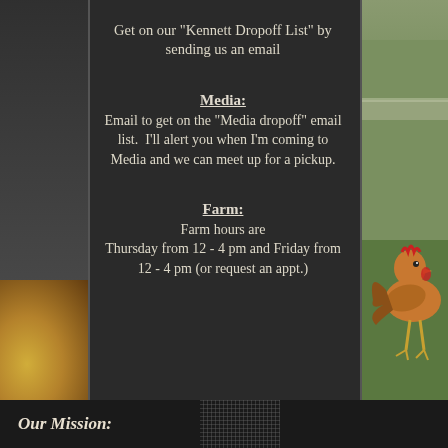Get on our "Kennett Dropoff List" by sending us an email
Media:
Email to get on the "Media dropoff" email list.  I'll alert you when I'm coming to Media and we can meet up for a pickup.
Farm:
Farm hours are Thursday from 12 - 4 pm and Friday from 12 - 4 pm (or request an appt.)
[Figure (photo): Photo of a chicken/rooster on the right side of the page against a green background]
Our Mission: